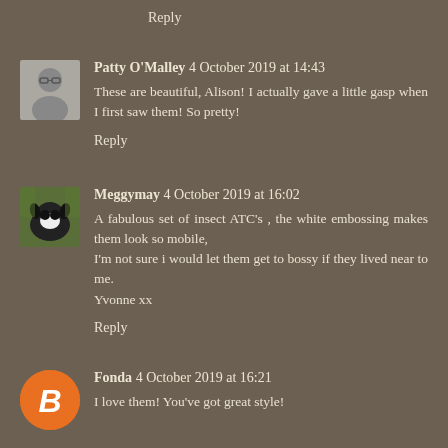Reply
[Figure (photo): Avatar photo of Patty O'Malley, a person wearing glasses]
Patty O'Malley  4 October 2019 at 14:43
These are beautiful, Alison! I actually gave a little gasp when I first saw them! So pretty!
Reply
[Figure (photo): Avatar photo of Meggymay, appears to be a dog or animal in a garden]
Meggymay  4 October 2019 at 16:02
A fabulous set of insect ATC's , the white embossing makes them look so mobile,
I'm not sure i would let them get to bossy if they lived near to me.
Yvonne xx
Reply
[Figure (logo): Orange circle with white letter B (Blogger logo) for Fonda]
Fonda  4 October 2019 at 16:21
I love them! You've got great style!